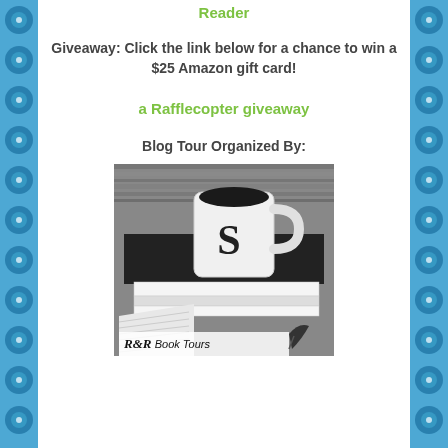Reader
Giveaway: Click the link below for a chance to win a $25 Amazon gift card!
a Rafflecopter giveaway
Blog Tour Organized By:
[Figure (logo): R&R Book Tours logo — black and white photo of a coffee mug with letter S on a stack of books, with R&R Book Tours text and quill pen logo at the bottom]